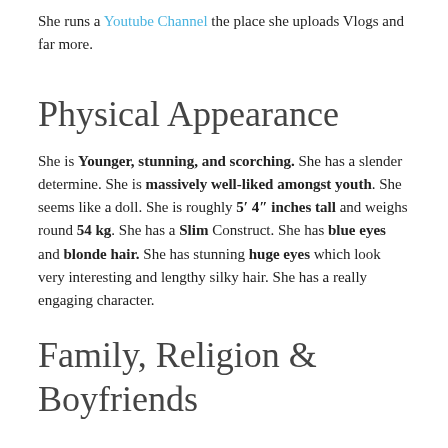She runs a Youtube Channel the place she uploads Vlogs and far more.
Physical Appearance
She is Younger, stunning, and scorching. She has a slender determine. She is massively well-liked amongst youth. She seems like a doll. She is roughly 5′ 4″ inches tall and weighs round 54 kg. She has a Slim Construct. She has blue eyes and blonde hair. She has stunning huge eyes which look very interesting and lengthy silky hair. She has a really engaging character.
Family, Religion & Boyfriends